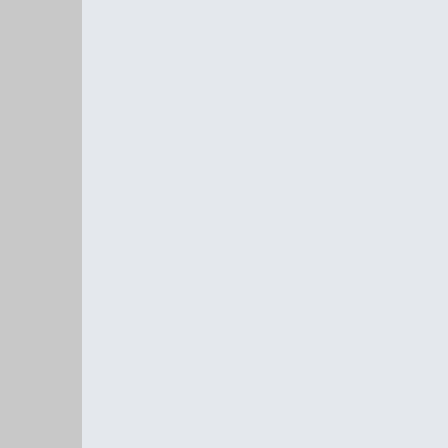"The Legends of Airpower Weekend at the American Republic Airport in Farm honor the 75th Anniversary Day Weekend. Come take the B-17G Flying Fortress seat TP-40N Warhawks aircraft collection, along FG-1D Corsair, MK1 Sp Mitsubishi Zero!"
WOAH! OK so I've just decided the show is a re-run of the past ZERO?!!!? AAM it will be!
"Passengers should NEVER lea it goes through the X-ray machi --TSA.GOV website
05-11-2019, 02:29 PM
Chris S   FYI - I see the 106th Rescue W